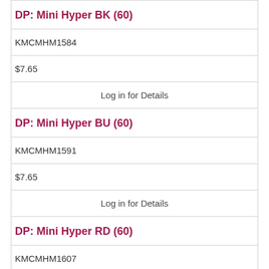DP: Mini Hyper BK (60)
KMCMHM1584
$7.65
Log in for Details
DP: Mini Hyper BU (60)
KMCMHM1591
$7.65
Log in for Details
DP: Mini Hyper RD (60)
KMCMHM1607
$7.65
Log in for Details